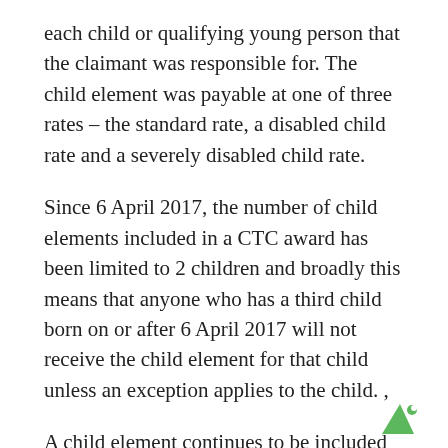each child or qualifying young person that the claimant was responsible for. The child element was payable at one of three rates – the standard rate, a disabled child rate and a severely disabled child rate.
Since 6 April 2017, the number of child elements included in a CTC award has been limited to 2 children and broadly this means that anyone who has a third child born on or after 6 April 2017 will not receive the child element for that child unless an exception applies to the child. ,
A child element continues to be included in the award for each child or QYP that the claimant is responsible for who was born before 6 April 2017.
[Figure (logo): Small green triangle/arrow logo in the bottom right corner]